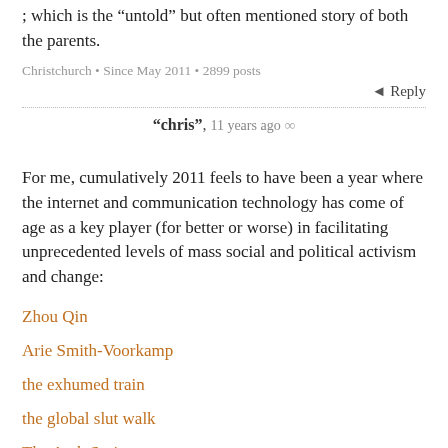; which is the “untold” but often mentioned story of both the parents.
Christchurch • Since May 2011 • 2899 posts
◄ Reply
“chris” , 11 years ago ∞
For me, cumulatively 2011 feels to have been a year where the internet and communication technology has come of age as a key player (for better or worse) in facilitating unprecedented levels of mass social and political activism and change:
Zhou Qin
Arie Smith-Voorkamp
the exhumed train
the global slut walk
The Arab Spring
the English Riots